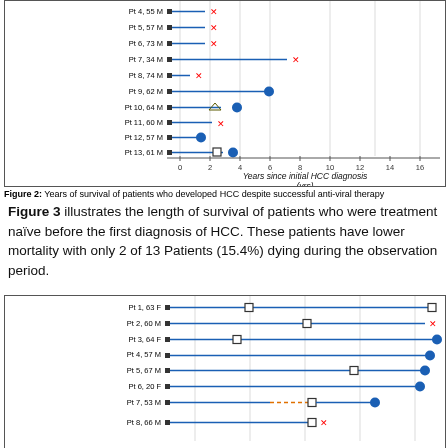[Figure (other): Swimmer plot (top portion) showing years of survival for patients Pt 4-13 who developed HCC despite anti-viral therapy, with x-axis 'Years since initial HCC diagnosis (yrs)' and Figure 2 caption]
Figure 2: Years of survival of patients who developed HCC despite successful anti-viral therapy
Figure 3 illustrates the length of survival of patients who were treatment naïve before the first diagnosis of HCC. These patients have lower mortality with only 2 of 13 Patients (15.4%) dying during the observation period.
[Figure (other): Swimmer plot (bottom portion, partial) showing years of survival for treatment-naïve patients Pt 1-8, with blue lines, open squares, filled circles, X markers, and an orange dashed segment for Pt 7]